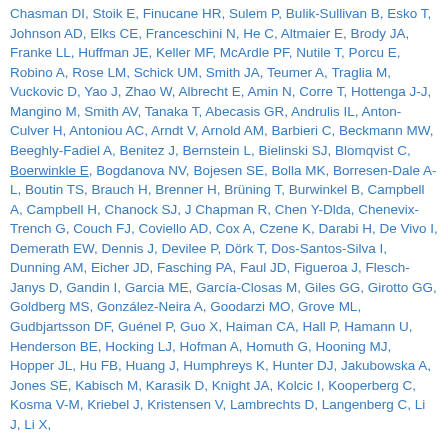Chasman DI, Stoik E, Finucane HR, Sulem P, Bulik-Sullivan B, Esko T, Johnson AD, Elks CE, Franceschini N, He C, Altmaier E, Brody JA, Franke LL, Huffman JE, Keller MF, McArdle PF, Nutile T, Porcu E, Robino A, Rose LM, Schick UM, Smith JA, Teumer A, Traglia M, Vuckovic D, Yao J, Zhao W, Albrecht E, Amin N, Corre T, Hottenga J-J, Mangino M, Smith AV, Tanaka T, Abecasis GR, Andrulis IL, Anton-Culver H, Antoniou AC, Arndt V, Arnold AM, Barbieri C, Beckmann MW, Beeghly-Fadiel A, Benitez J, Bernstein L, Bielinski SJ, Blomqvist C, Boerwinkle E, Bogdanova NV, Bojesen SE, Bolla MK, Borresen-Dale A-L, Boutin TS, Brauch H, Brenner H, Brüning T, Burwinkel B, Campbell A, Campbell H, Chanock SJ, J Chapman R, Chen Y-Dlda, Chenevix-Trench G, Couch FJ, Coviello AD, Cox A, Czene K, Darabi H, De Vivo I, Demerath EW, Dennis J, Devilee P, Dörk T, Dos-Santos-Silva I, Dunning AM, Eicher JD, Fasching PA, Faul JD, Figueroa J, Flesch-Janys D, Gandin I, Garcia ME, García-Closas M, Giles GG, Girotto GG, Goldberg MS, González-Neira A, Goodarzi MO, Grove ML, Gudbjartsson DF, Guénel P, Guo X, Haiman CA, Hall P, Hamann U, Henderson BE, Hocking LJ, Hofman A, Homuth G, Hooning MJ, Hopper JL, Hu FB, Huang J, Humphreys K, Hunter DJ, Jakubowska A, Jones SE, Kabisch M, Karasik D, Knight JA, Kolcic I, Kooperberg C, Kosma V-M, Kriebel J, Kristensen V, Lambrechts D, Langenberg C, Li J, Li X,